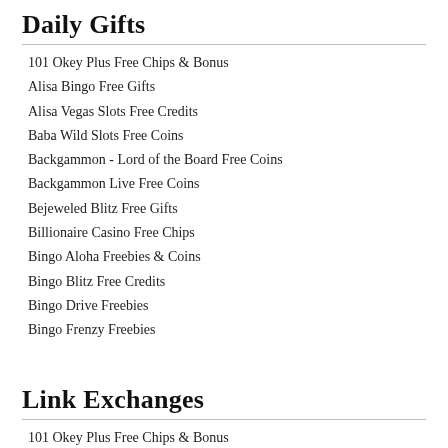Daily Gifts
101 Okey Plus Free Chips & Bonus
Alisa Bingo Free Gifts
Alisa Vegas Slots Free Credits
Baba Wild Slots Free Coins
Backgammon - Lord of the Board Free Coins
Backgammon Live Free Coins
Bejeweled Blitz Free Gifts
Billionaire Casino Free Chips
Bingo Aloha Freebies & Coins
Bingo Blitz Free Credits
Bingo Drive Freebies
Bingo Frenzy Freebies
Link Exchanges
101 Okey Plus Free Chips & Bonus
Alisa Bingo Free Gifts
Alisa Vegas Slots Free Credits